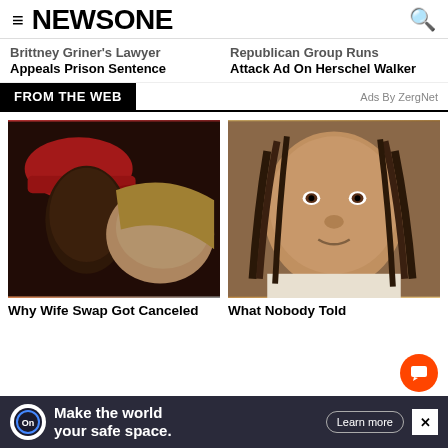≡ NEWSONE [search icon]
Brittney Griner's Lawyer Appeals Prison Sentence
Republican Group Runs Attack Ad On Herschel Walker
FROM THE WEB
Ads By ZergNet
[Figure (photo): Two people kissing, one wearing a red cap]
[Figure (photo): Close-up of Brittney Griner's face]
Why Wife Swap Got Canceled
What Nobody Told
Make the world your safe space. Learn more